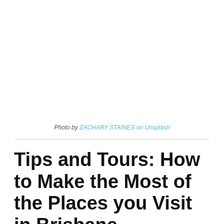[Figure (photo): White/blank photo area at top of page (photo not rendered)]
Photo by ZACHARY STAINES on Unsplash
Tips and Tours: How to Make the Most of the Places you Visit in Brisbane